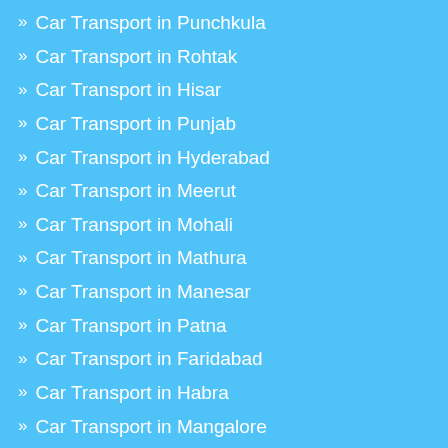Car Transport in Punchkula
Car Transport in Rohtak
Car Transport in Hisar
Car Transport in Punjab
Car Transport in Hyderabad
Car Transport in Meerut
Car Transport in Mohali
Car Transport in Mathura
Car Transport in Manesar
Car Transport in Patna
Car Transport in Faridabad
Car Transport in Habra
Car Transport in Mangalore
Car Transport in Cochinn
Car Transport in Jammu